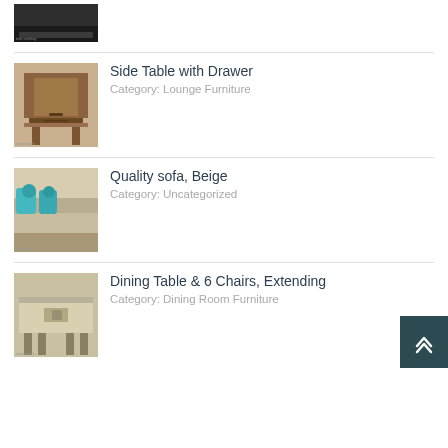[Figure (photo): Partial view of a dark/black leather sofa, cropped at top of page]
[Figure (photo): Wooden side table with drawer, dark brown finish]
Side Table with Drawer
Category: Lounge Furniture
[Figure (photo): Beige sofa with teal/turquoise decorative pillows]
Quality sofa, Beige
Category: Uncategorized
[Figure (photo): Dining table with 6 chairs, extending, light wood finish]
Dining Table & 6 Chairs, Extending
Category: Dining Room Furniture